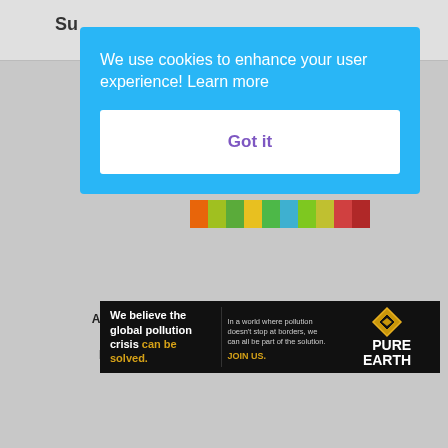Su
[Figure (screenshot): Cookie consent overlay on a webpage with blue background. Text reads: 'We use cookies to enhance your user experience! Learn more' with a white 'Got it' button below in purple text.]
Article Name   Social Media Management - Who Are The Big Players
Description   In this new article, we are talking
[Figure (illustration): Advertisement banner for Pure Earth charity. Left side has white bold text: 'We believe the global pollution crisis can be solved.' with 'can be solved.' in gold/yellow. Center has small text about global pollution and 'JOIN US.' in gold. Right side shows Pure Earth diamond logo with 'PURE EARTH' text in white.]